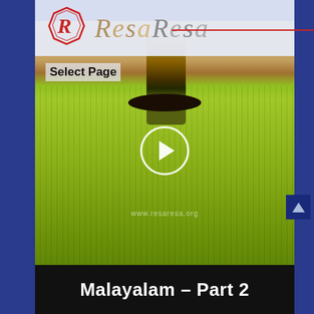[Figure (screenshot): Website screenshot showing ResaResa logo header with red R emblem, a video thumbnail of a man in green striped shirt with play button overlay and watermark www.resaresa.org, a 'Select Page' navigation element, and a black title bar at bottom reading 'Malayalam - Part 2'. Blue background on sides. Scroll-to-top button on the right.]
Malayalam – Part 2